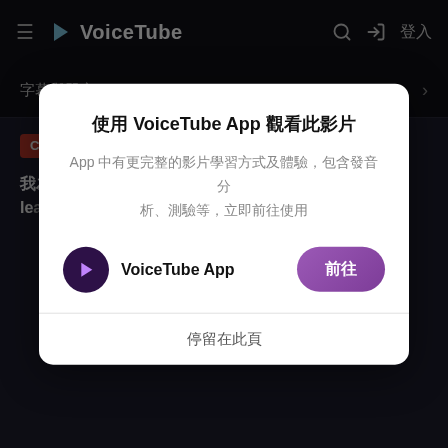VoiceTube
字幕與單字
C2 高級  美國腔
我為什麼要學習世界語 (我不在乎你怎麼想) (Why I'm le...
使用 VoiceTube App 觀看此影片
App 中有更完整的影片學習方式及體驗，包含發音分析、測驗等，立即前往使用
VoiceTube App
前往
停留在此頁